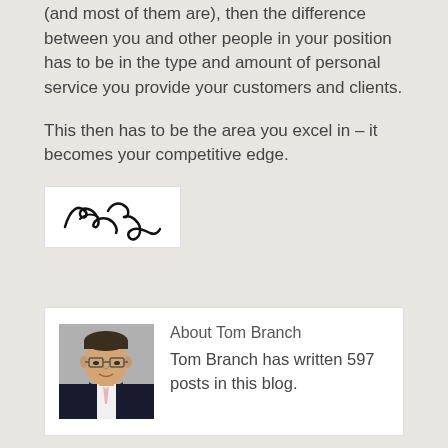(and most of them are), then the difference between you and other people in your position has to be in the type and amount of personal service you provide your customers and clients.
This then has to be the area you excel in – it becomes your competitive edge.
[Figure (illustration): A handwritten signature in black ink on white background]
About Tom Branch
[Figure (photo): Headshot photo of Tom Branch, a man wearing glasses and a suit]
Tom Branch has written 597 posts in this blog.